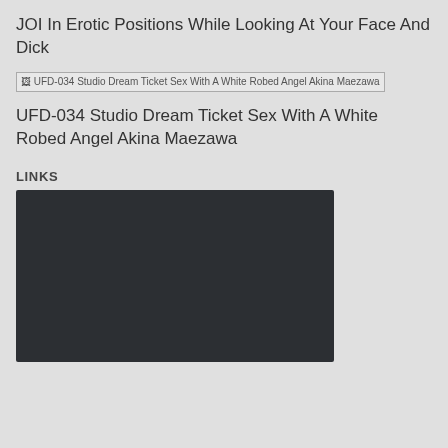JOI In Erotic Positions While Looking At Your Face And Dick
[Figure (other): Broken image placeholder for UFD-034 Studio Dream Ticket Sex With A White Robed Angel Akina Maezawa]
UFD-034 Studio Dream Ticket Sex With A White Robed Angel Akina Maezawa
LINKS
[Figure (other): Dark embedded media player or link block]